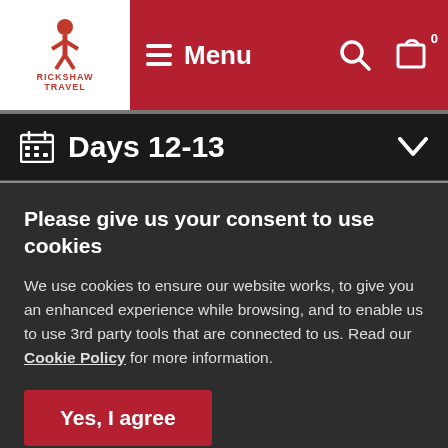[Figure (logo): Rickshaw Travel logo — white background with red figure icon and RICKSHAW TRAVEL text]
Menu
Days 12-13
Please give us your consent to use cookies
We use cookies to ensure our website works, to give you an enhanced experience while browsing, and to enable us to use 3rd party tools that are connected to us. Read our Cookie Policy for more information.
Yes, I agree